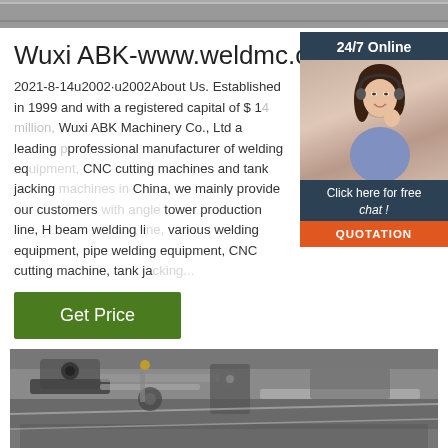[Figure (photo): Top banner image strip, partially visible]
Wuxi ABK-www.weldmc.com
2021-8-14u2002·u2002About Us. Established in 1999 and with a registered capital of $ 1 4 million, Wuxi ABK Machinery Co., Ltd a leading professional manufacturer of welding equipment, CNC cutting machines and tank jacking machines in China, we mainly provide our customers with angle tower production line, H beam welding line, various welding equipment, pipe welding equipment, CNC cutting machine, tank ja...
[Figure (photo): Chat widget showing a woman with headset and '24/7 Online' header, 'Click here for free chat!' text, and QUOTATION button]
[Figure (other): Green 'Get Price' button]
[Figure (photo): Bottom image of welding/CNC equipment machinery]